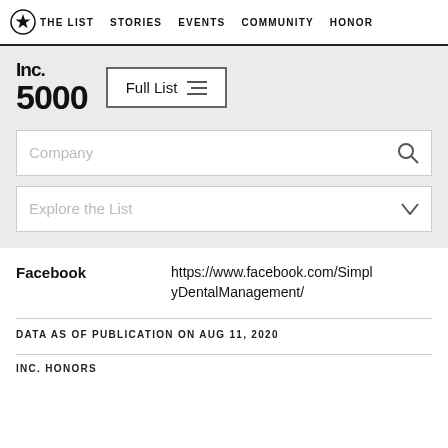THE LIST  STORIES  EVENTS  COMMUNITY  HONOR
[Figure (logo): Inc. 5000 logo with Full List button]
Company [search box]
Explore the List [dropdown]
Facebook	https://www.facebook.com/SimplyDentalManagement/
DATA AS OF PUBLICATION ON AUG 11, 2020
INC. HONORS